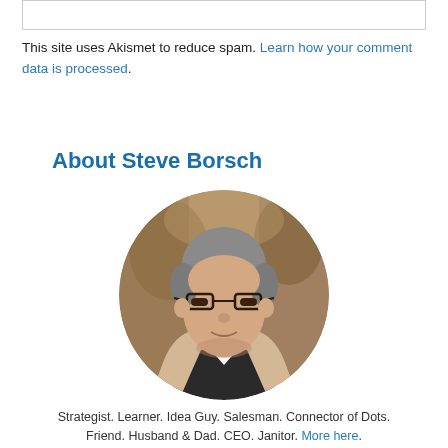This site uses Akismet to reduce spam. Learn how your comment data is processed.
About Steve Borsch
[Figure (photo): Circular profile photo of Steve Borsch, a middle-aged man with grey hair and glasses wearing a houndstooth blazer and black vest, photographed in an indoor setting.]
Strategist. Learner. Idea Guy. Salesman. Connector of Dots. Friend. Husband & Dad. CEO. Janitor. More here.